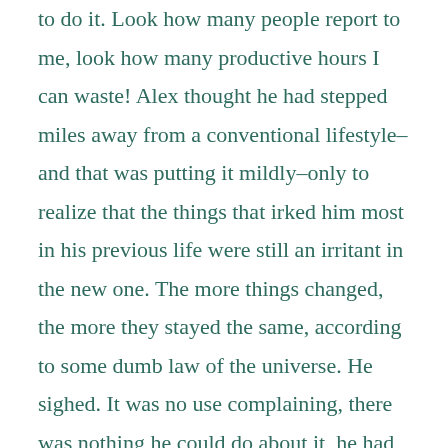to do it. Look how many people report to me, look how many productive hours I can waste! Alex thought he had stepped miles away from a conventional lifestyle–and that was putting it mildly–only to realize that the things that irked him most in his previous life were still an irritant in the new one. The more things changed, the more they stayed the same, according to some dumb law of the universe. He sighed. It was no use complaining, there was nothing he could do about it, he had to suck it up. Very funny, in this context. He doubted